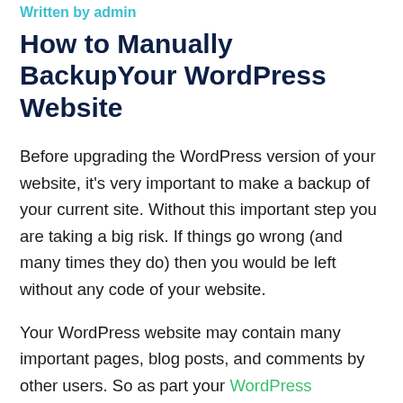Written by admin
How to Manually BackupYour WordPress Website
Before upgrading the WordPress version of your website, it's very important to make a backup of your current site. Without this important step you are taking a big risk. If things go wrong (and many times they do) then you would be left without any code of your website.
Your WordPress website may contain many important pages, blog posts, and comments by other users. So as part your WordPress maintenance you must take a backup of your site